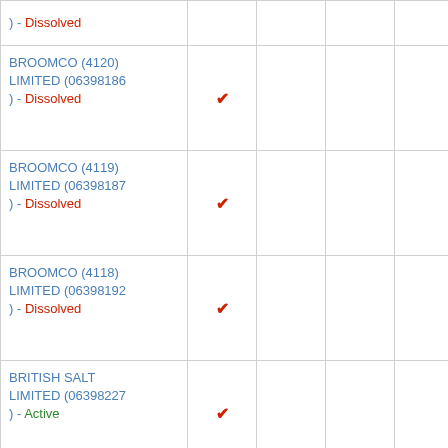| Company |  |  |  |  |  |
| --- | --- | --- | --- | --- | --- |
| ( ) - Dissolved | ✔ |  |  |  |  |
| BROOMCO (4120) LIMITED (06398186) - Dissolved | ✔ |  |  |  |  |
| BROOMCO (4119) LIMITED (06398187) - Dissolved | ✔ |  |  |  |  |
| BROOMCO (4118) LIMITED (06398192) - Dissolved | ✔ |  |  |  |  |
| BRITISH SALT LIMITED (06398227) - Active | ✔ |  |  |  |  |
| CLAREMONT BILSTON (MANAGEMENT COMPANY) LIMITED (06399413) - Active |  |  | ✔ |  |  |
|  |  |  |  |  |  |